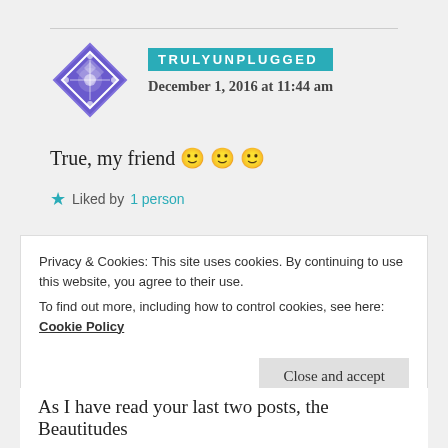[Figure (illustration): Avatar of TRULYUNPLUGGED: a blue/purple geometric diamond-shaped tile pattern icon]
TRULYUNPLUGGED
December 1, 2016 at 11:44 am
True, my friend 🙂 🙂 🙂
★ Liked by 1 person
[Figure (illustration): Avatar of JD126: a teal/green pixelated grid-pattern icon]
JD126
December 1, 2016 at 8:47 pm
Privacy & Cookies: This site uses cookies. By continuing to use this website, you agree to their use.
To find out more, including how to control cookies, see here: Cookie Policy
Close and accept
As I have read your last two posts, the Beautitudes